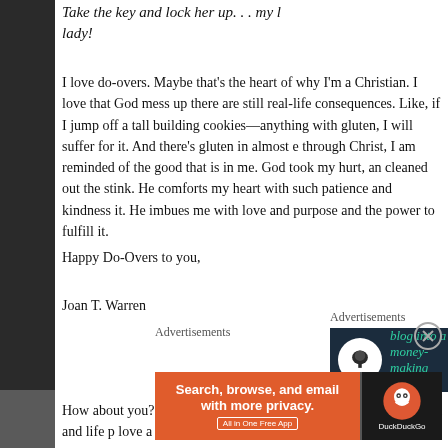Take the key and lock her up. . . my lady!
I love do-overs. Maybe that's the heart of why I'm a Christian. I love that God mess up there are still real-life consequences. Like, if I jump off a tall building cookies—anything with gluten, I will suffer for it. And there's gluten in almost e through Christ, I am reminded of the good that is in me. God took my hurt, an cleaned out the stink. He comforts my heart with such patience and kindness it. He imbues me with love and purpose and the power to fulfill it.
Advertisements
[Figure (screenshot): Dark navy advertisement banner: 'Turn your blog into a money-making online course' with tree/Teachable icon]
How about you? Where are you in your journey toward inner health and life p love a good do-over too? Leave me a note and a link so we can see what you
Happy Do-Overs to you,
Joan T. Warren
Advertisements
[Figure (screenshot): DuckDuckGo advertisement: 'Search, browse, and email with more privacy. All in One Free App' with DuckDuckGo logo on dark background]